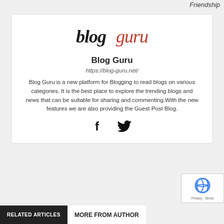Friendship
[Figure (logo): Blog Guru logo in stylized handwritten font, 'blog' in black and 'guru' in red/coral italic]
Blog Guru
https://blog-guru.net/
Blog Guru is a new platform for Blogging to read blogs on various categories. It is the best place to explore the trending blogs and news that can be suitable for sharing and commenting.With the new features we are also providing the Guest Post Blog.
[Figure (illustration): Facebook and Twitter social media icons]
RELATED ARTICLES
MORE FROM AUTHOR